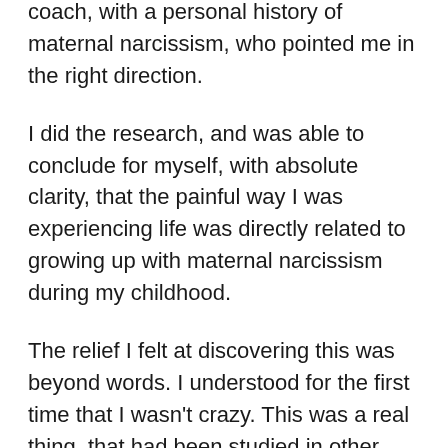coach, with a personal history of maternal narcissism, who pointed me in the right direction.
I did the research, and was able to conclude for myself, with absolute clarity, that the painful way I was experiencing life was directly related to growing up with maternal narcissism during my childhood.
The relief I felt at discovering this was beyond words. I understood for the first time that I wasn't crazy. This was a real thing, that had been studied in other families, was experienced by other women, and there was a path forward to leaving it behind me, once and for all.